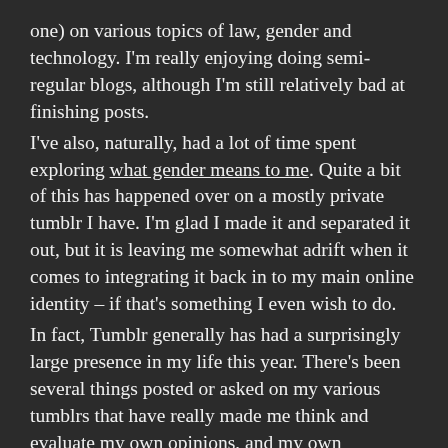one) on various topics of law, gender and technology. I'm really enjoying doing semi-regular blogs, although I'm still relatively bad at finishing posts. I've also, naturally, had a lot of time spent exploring what gender means to me. Quite a bit of this has happened over on a mostly private tumblr I have. I'm glad I made it and separated it out, but it is leaving me somewhat adrift when it comes to integrating it back in to my main online identity – if that's something I even wish to do. In fact, Tumblr generally has had a surprisingly large presence in my life this year. There's been several things posted or asked on my various tumblrs that have really made me think and evaluate my own opinions, and my own situation. I'd argue that, subjectively, my tumblr's have caused the largest amount of introspection of any online service I use. I'm more open on them than I ever thought I would be – especially in the past few months. With that said there is one large piece of me I still haven't